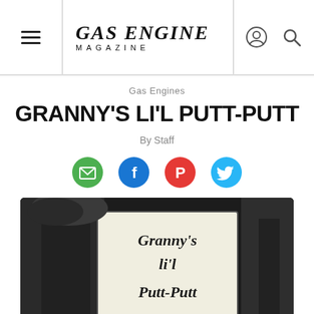Gas Engine Magazine — navigation header with hamburger menu, logo, user icon, and search icon
Gas Engines
GRANNY'S LI'L PUTT-PUTT
By Staff
[Figure (other): Social sharing icons: email (green circle), Facebook (blue circle), Pinterest (red circle), Twitter (blue bird circle)]
[Figure (photo): Black and white photograph showing a sign with old English/blackletter font text reading: Granny's li'l Putt-Putt]